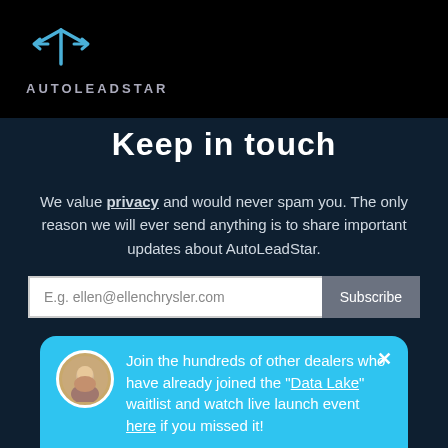[Figure (logo): AutoLeadStar logo: blue star/arrow icon above the text AUTOLEADSTAR]
Keep in touch
We value privacy and would never spam you. The only reason we will ever send anything is to share important updates about AutoLeadStar.
[Figure (screenshot): Email subscription form with placeholder 'E.g. ellen@ellenchrysler.com' and a Subscribe button]
[Figure (infographic): Chat popup on cyan background with avatar, message about joining Data Lake waitlist and watch live launch event here, and email input field]